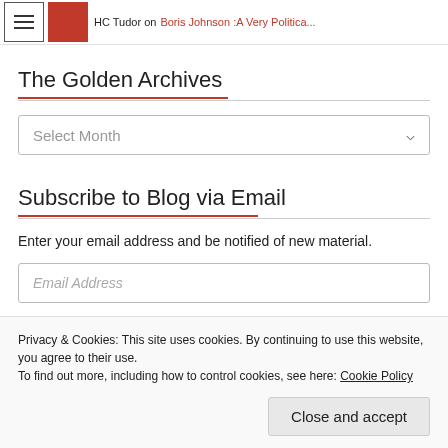HC Tudor on Boris Johnson :A Very Politica...
The Golden Archives
Select Month
Subscribe to Blog via Email
Enter your email address and be notified of new material.
Email Address
Privacy & Cookies: This site uses cookies. By continuing to use this website, you agree to their use.
To find out more, including how to control cookies, see here: Cookie Policy
Close and accept